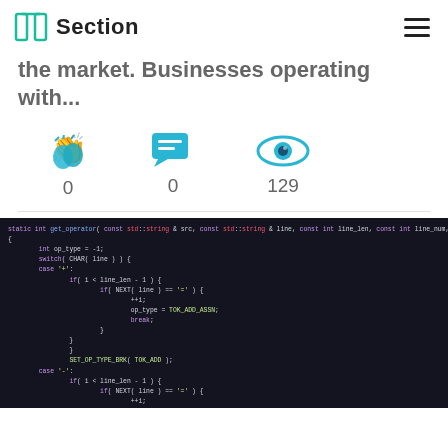Section
the market. Businesses operating with...
[Figure (infographic): Three engagement stat icons: clapping hands (0), speech bubbles (0), eye/views (129)]
[Figure (screenshot): Dark-themed code editor screenshot showing C++ function 'static int get_operator' with switch-case logic for operators including TOK_ADD_ASSN, TOK_SUB_ASSN, SET_OP_TYPE_BRK macros]